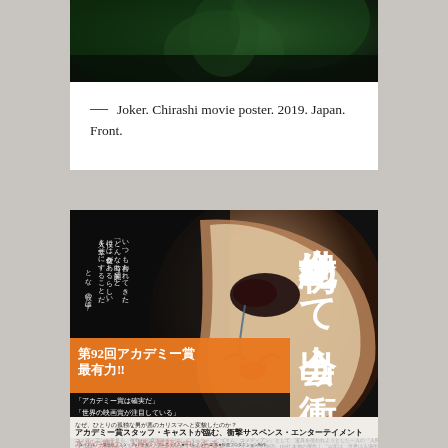[Figure (photo): Top portion of Joker movie poster — dark green-toned image showing clown makeup/face.]
— Joker. Chirashi movie poster. 2019. Japan. Front.
[Figure (photo): Japanese Joker (2019) movie chirashi poster — front side showing Joaquin Phoenix as the Joker with Japanese text including '今世紀初めて出会う衝', '第92回アカデミー賞最有力!!', 'アカデミー賞スタッフ・キャストが臨む、衝撃サスペンス・エンターテイメント', '本当の悪は、人間の笑顔の中にある。']